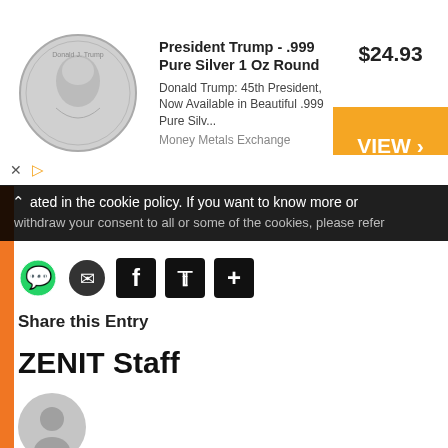[Figure (screenshot): Advertisement banner for President Trump .999 Pure Silver 1 Oz Round coin. Shows coin image on left, product title and description in center, price $24.93, and orange VIEW button on right. Source: Money Metals Exchange.]
ated in the cookie policy. If you want to know more or withdraw your consent to all or some of the cookies, please refer
[Figure (other): Social sharing icons: WhatsApp, Messenger, Facebook, Twitter, and a plus/share icon]
Share this Entry
ZENIT Staff
[Figure (illustration): Generic gray user avatar icon (circle with person silhouette)]
View all articles